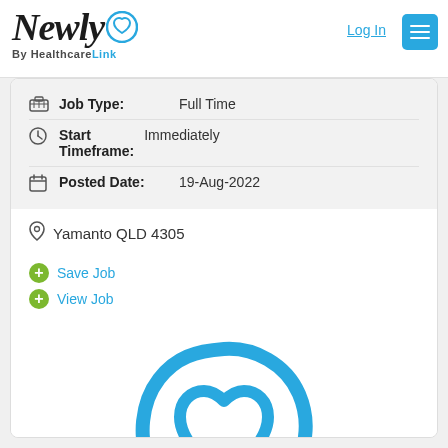[Figure (logo): Newly by HealthcareLink logo — script 'Newly' with a heart icon, tagline 'By HealthcareLink']
Log In
[Figure (other): Hamburger menu button (three horizontal lines on teal background)]
| Job Type: | Full Time |
| Start Timeframe: | Immediately |
| Posted Date: | 19-Aug-2022 |
Yamanto QLD 4305
Save Job
View Job
[Figure (logo): Large HealthcareLink / Newly logo — circular heart shape in sky blue]